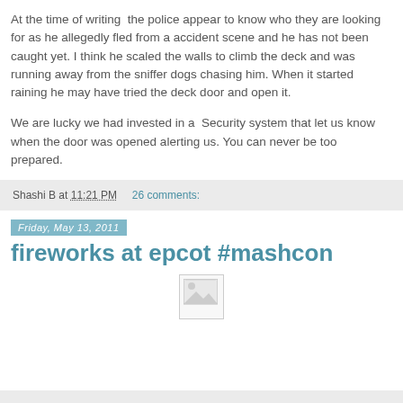At the time of writing  the police appear to know who they are looking for as he allegedly fled from a accident scene and he has not been caught yet. I think he scaled the walls to climb the deck and was running away from the sniffer dogs chasing him. When it started raining he may have tried the deck door and open it.

We are lucky we had invested in a  Security system that let us know when the door was opened alerting us. You can never be too prepared.
Shashi B at 11:21 PM    26 comments:
Friday, May 13, 2011
fireworks at epcot #mashcon
[Figure (photo): Broken/loading image placeholder]